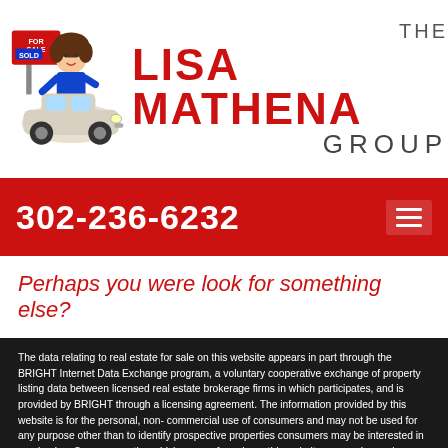[Figure (logo): The Lisa Mathena Group logo with cartoon illustration of a woman driving a vintage car holding a FOR SALE sign]
302-236-6232
Perhaps you were look for something else?
The data relating to real estate for sale on this website appears in part through the BRIGHT Internet Data Exchange program, a voluntary cooperative exchange of property listing data between licensed real estate brokerage firms in which participates, and is provided by BRIGHT through a licensing agreement. The information provided by this website is for the personal, non-commercial use of consumers and may not be used for any purpose other than to identify prospective properties consumers may be interested in purchasing. Some properties which appear for sale on this website may no longer be available because they are under contract, have Closed or are no longer being offered for sale. Some real estate firms do not participate in IDX and their listings do not appear on this website. Some properties listed with participating firms do not appear on this website at the request of the seller.